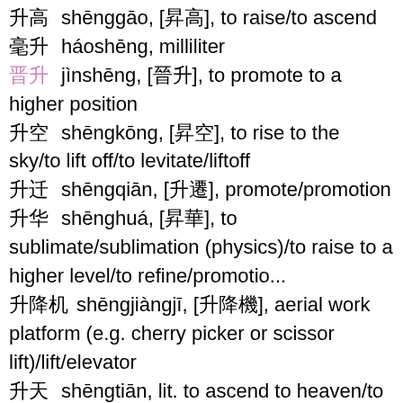升高  shēnggāo, [昇高], to raise/to ascend
毫升  háoshēng, milliliter
晋升  jìnshēng, [晉升], to promote to a higher position
升空  shēngkōng, [昇空], to rise to the sky/to lift off/to levitate/liftoff
升迁  shēngqiān, [升遷], promote/promotion
升华  shēnghuá, [昇華], to sublimate/sublimation (physics)/to raise to a higher level/to refine/promotio...
升降机  shēngjiàngjī, [升降機], aerial work platform (e.g. cherry picker or scissor lift)/lift/elevator
升天  shēngtiān, lit. to ascend to heaven/to die
升官  shēngguān, to get promoted
爬升  páshēng, to rise/to ascend/to climb (airplane etc)/to go up (sales figures etc)/to gain